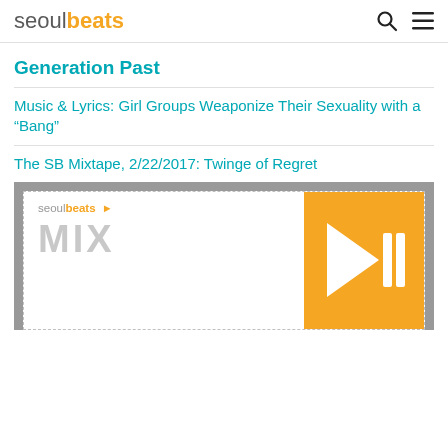seoulbeats
Generation Past
Music & Lyrics: Girl Groups Weaponize Their Sexuality with a “Bang”
The SB Mixtape, 2/22/2017: Twinge of Regret
[Figure (logo): Seoulbeats SB Mixtape promotional image with logo and play/music bar icons on orange background]